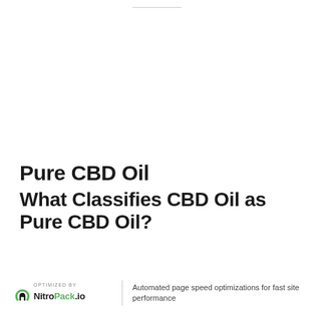Pure CBD Oil
What Classifies CBD Oil as Pure CBD Oil?
OPTIMIZED BY NitroPack.io | Automated page speed optimizations for fast site performance